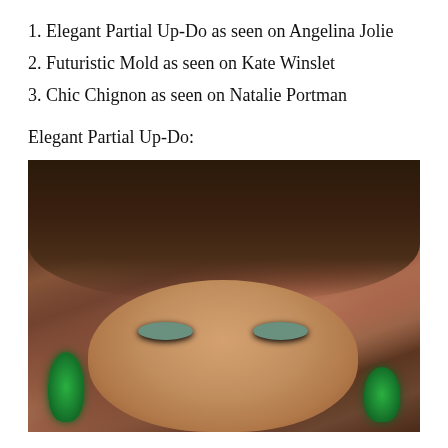1. Elegant Partial Up-Do as seen on Angelina Jolie
2. Futuristic Mold as seen on Kate Winslet
3. Chic Chignon as seen on Natalie Portman
Elegant Partial Up-Do:
[Figure (photo): Close-up photo of Angelina Jolie with an elegant partial up-do hairstyle, wearing green emerald drop earrings, with striking blue-green eyes and dramatic eye makeup, against a warm blurred background.]